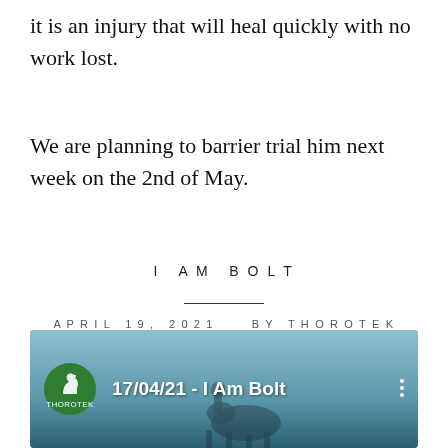it is an injury that will heal quickly with no work lost.
We are planning to barrier trial him next week on the 2nd of May.
I AM BOLT
APRIL 19, 2021   BY THOROTEK
[Figure (screenshot): Video thumbnail showing a horse and rider near water with the Thorotek logo and title '17/04/21 - I Am Bolt']